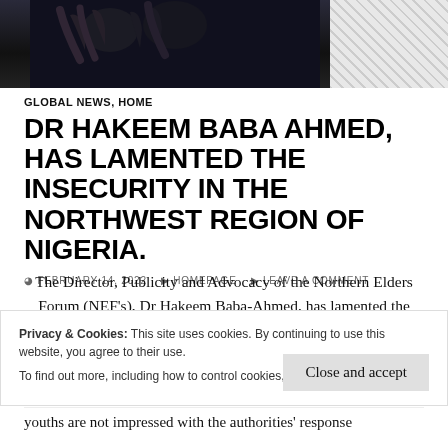[Figure (photo): Dark photo strip at top showing a person with raised hands against dark background, with hatched pattern on the right side]
GLOBAL NEWS, HOME
DR HAKEEM BABA AHMED, HAS LAMENTED THE INSECURITY IN THE NORTHWEST REGION OF NIGERIA.
FEBRUARY 14, 2022  HOMEPAGE  LEAVE A COMMENT
The Director, Publicity and Advocacy of the Northern Elders Forum (NEF's), Dr Hakeem Baba-Ahmed, has lamented the insecurity in the northwest region of
Privacy & Cookies: This site uses cookies. By continuing to use this website, you agree to their use. To find out more, including how to control cookies, see here: Cookie Policy
youths are not impressed with the authorities' response...